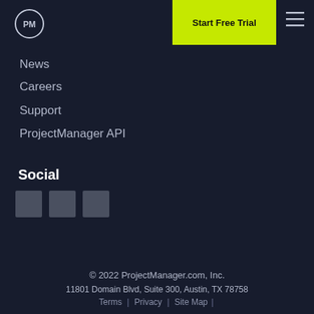[Figure (logo): PM logo circle with 'PM' text inside]
Start Free Trial
[Figure (other): Hamburger menu icon (three horizontal lines)]
News
Careers
Support
ProjectManager API
Social
[Figure (other): Three social media icon squares (grey)]
© 2022 ProjectManager.com, Inc.
11801 Domain Blvd, Suite 300, Austin, TX 78758
Terms | Privacy | Site Map |